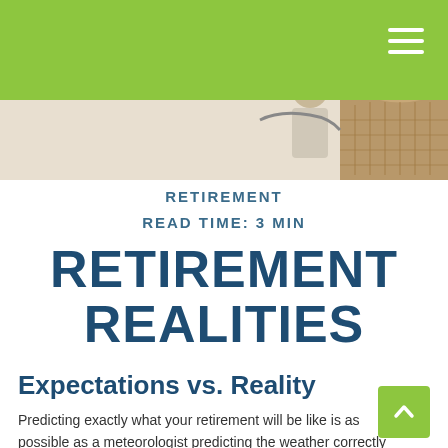[Figure (photo): Green navigation bar at top with hamburger menu icon in white, and a hero image below showing people outdoors near a wicker basket]
RETIREMENT
READ TIME: 3 MIN
RETIREMENT REALITIES
Expectations vs. Reality
Predicting exactly what your retirement will be like is as possible as a meteorologist predicting the weather correctly every single time. In fact, few retirees find their financial futures playing out precisely as they assumed